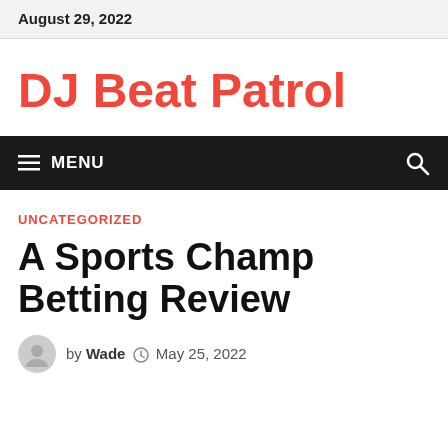August 29, 2022
DJ Beat Patrol
MENU
UNCATEGORIZED
A Sports Champ Betting Review
by Wade  May 25, 2022